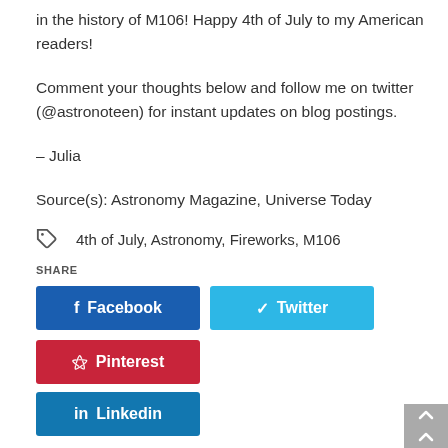in the history of M106! Happy 4th of July to my American readers!
Comment your thoughts below and follow me on twitter (@astronoteen) for instant updates on blog postings.
– Julia
Source(s): Astronomy Magazine, Universe Today
4th of July, Astronomy, Fireworks, M106
SHARE
Facebook
Twitter
Pinterest
Linkedin